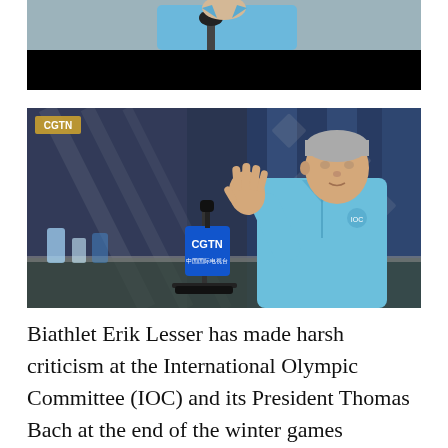[Figure (photo): Top portion of a video screenshot showing a person in a light blue jacket with a microphone, upper half cut off; lower half is black/dark.]
[Figure (photo): CGTN news interview screenshot showing IOC President Thomas Bach in a light blue jacket with his hand raised, seated at a table with a CGTN microphone in front of him. Background shows decorative lattice architecture.]
Biathlet Erik Lesser has made harsh criticism at the International Olympic Committee (IOC) and its President Thomas Bach at the end of the winter games